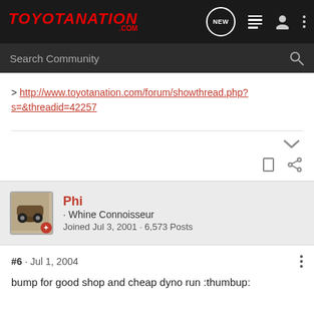TOYOTANATION .COM
> http://www.toyotanation.com/forum/showthread.php?s=&threadid=42257
Phi · Whine Connoisseur
Joined Jul 3, 2001 · 6,573 Posts
#6 · Jul 1, 2004
bump for good shop and cheap dyno run :thumbup: